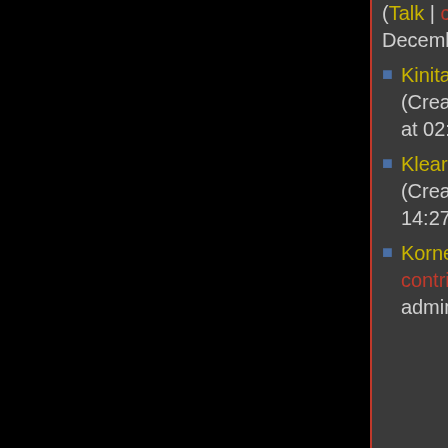( Talk | contribs) (Created on 12 December 2011 at 06:04)
Kinitawowi (Talk | contribs) (Created on 10 October 2012 at 02:27)
Klear (Talk | contribs) (Created on 26 April 2012 at 14:27)
Kornel Kisielewicz (Talk | contribs) (bureaucrat, administrator)